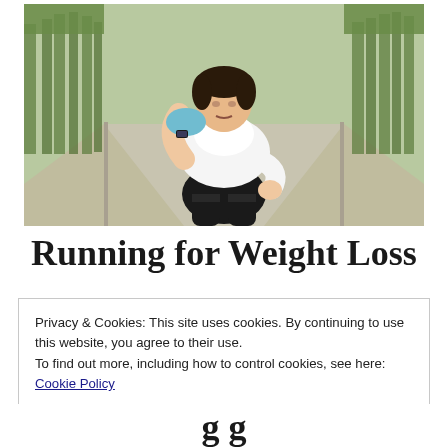[Figure (photo): A plus-size woman in workout clothes (white shirt, black leggings) bending forward on a tree-lined road, holding a blue towel near her face, appearing tired after exercising.]
Running for Weight Loss
Privacy & Cookies: This site uses cookies. By continuing to use this website, you agree to their use.
To find out more, including how to control cookies, see here: Cookie Policy
Close and accept